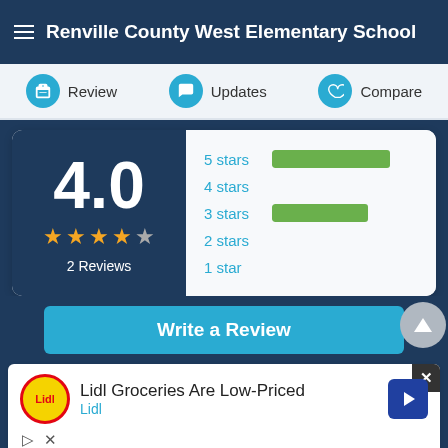Renville County West Elementary School
Review  Updates  Compare
[Figure (bar-chart): Rating Distribution]
Write a Review
[Figure (screenshot): Advertisement: Lidl Groceries Are Low-Priced - Lidl]
ADVERTISEMENT